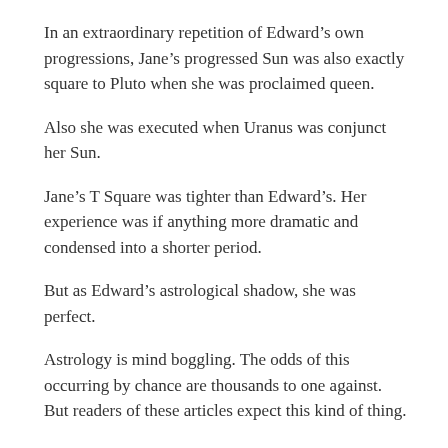In an extraordinary repetition of Edward’s own progressions, Jane’s progressed Sun was also exactly square to Pluto when she was proclaimed queen.
Also she was executed when Uranus was conjunct her Sun.
Jane’s T Square was tighter than Edward’s. Her experience was if anything more dramatic and condensed into a shorter period.
But as Edward’s astrological shadow, she was perfect.
Astrology is mind boggling. The odds of this occurring by chance are thousands to one against. But readers of these articles expect this kind of thing.
It’s as simple as black and white. No shades of grey here.